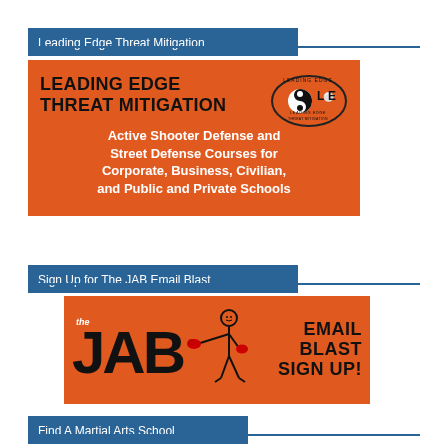Leading Edge Threat Mitigation
[Figure (logo): Leading Edge Threat Mitigation advertisement banner on orange background. Title: LEADING EDGE THREAT MITIGATION with oval logo (LOE). Subtitle: Active Shooter Defense and Street Defense Courses for Corporate, Business, Civilian, and Public and Private Schools]
Sign Up for The JAB Email Blast
[Figure (logo): The JAB Email Blast Sign Up advertisement banner on orange background with stick figure boxer and red boxing gloves]
Find A Martial Arts School